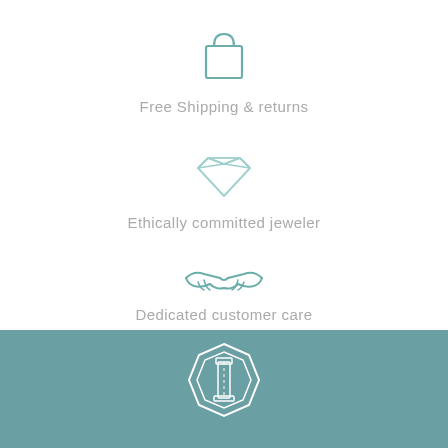[Figure (illustration): Teal outline shopping bag icon]
Free Shipping & returns
[Figure (illustration): Teal outline diamond/gem icon]
Ethically committed jeweler
[Figure (illustration): Teal outline handshake icon]
Dedicated customer care
[Figure (logo): White outline jeweler logo/lighthouse gem icon on teal background]